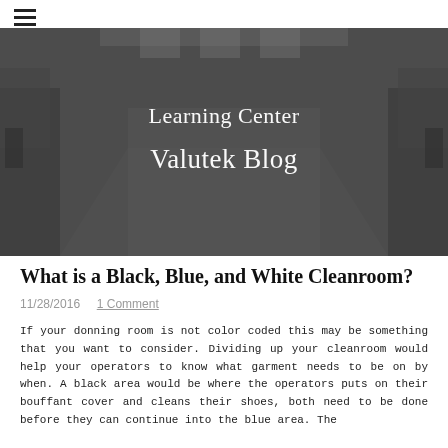≡ (hamburger menu icon)
[Figure (photo): Cleanroom interior with industrial equipment and machinery, dark overlay with text overlay showing 'Learning Center' and 'Valutek Blog']
What is a Black, Blue, and White Cleanroom?
11/28/2016  1 Comment
If your donning room is not color coded this may be something that you want to consider. Dividing up your cleanroom would help your operators to know what garment needs to be on by when. A black area would be where the operators puts on their bouffant cover and cleans their shoes, both need to be done before they can continue into the blue area. The blue area is where...